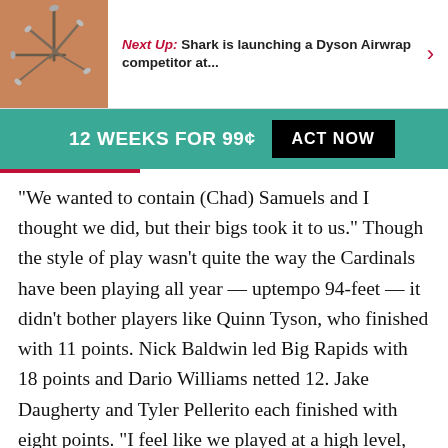Next Up: Shark is launching a Dyson Airwrap competitor at...
12 WEEKS FOR 99¢  ACT NOW
“We wanted to contain (Chad) Samuels and I thought we did, but their bigs took it to us.” Though the style of play wasn’t quite the way the Cardinals have been playing all year — uptempo 94-feet — it didn’t bother players like Quinn Tyson, who finished with 11 points. Nick Baldwin led Big Rapids with 18 points and Dario Williams netted 12. Jake Daugherty and Tyler Pellerito each finished with eight points. “I feel like we played at a high level, even though the tempo was slowed,” Tyson said. Big Rapids led